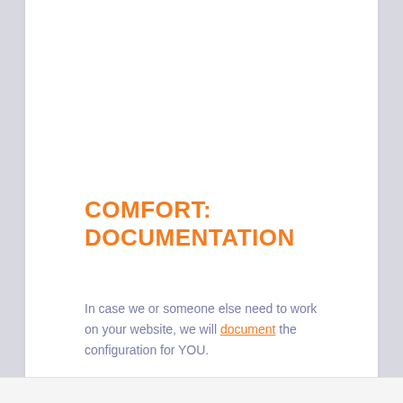COMFORT: DOCUMENTATION
In case we or someone else need to work on your website, we will document the configuration for YOU.